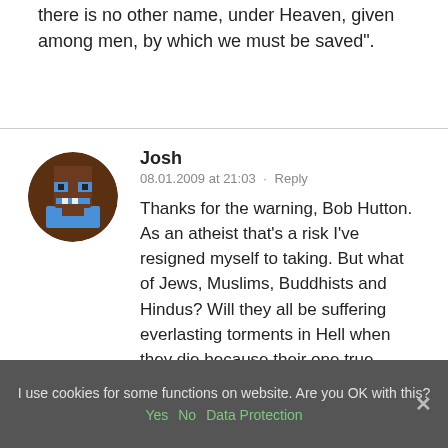there is no other name, under Heaven, given among men, by which we must be saved".
[Figure (illustration): User avatar: pixel art style face with blue and brown colors, circular frame]
Josh
08.01.2009 at 21:03 · Reply
Thanks for the warning, Bob Hutton. As an atheist that's a risk I've resigned myself to taking. But what of Jews, Muslims, Buddhists and Hindus? Will they all be suffering everlasting torments in Hell when they die because their one true religion happens to be the wrong one?
I use cookies for some functions on website. Are you OK with this?
Yes  No  Data Protection